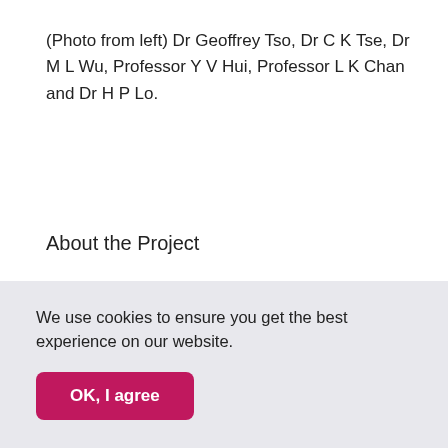(Photo from left) Dr Geoffrey Tso, Dr C K Tse, Dr M L Wu, Professor Y V Hui, Professor L K Chan and Dr H P Lo.
About the Project
HKCSI is a newly developed performance indicator for Hong Kong businesses, from a maximum of 100 to a
We use cookies to ensure you get the best experience on our website.
OK, I agree